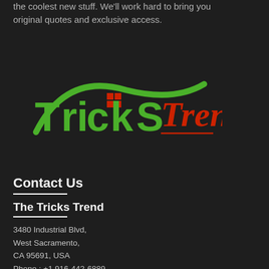the coolest new stuff. We'll work hard to bring you original quotes and exclusive access.
[Figure (logo): TricksTrend logo with green curved swoosh, green bold 'Tricks' text, red small squares, and red cursive 'Trend' text with underline]
Contact Us
The Tricks Trend
3480 Industrial Blvd,
West Sacramento,
CA 95691, USA
Phone : +1 916-442-6889
Email: drupnar [@] gmail [.] com